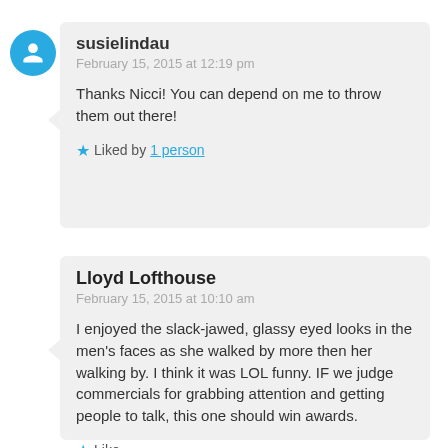susielindau
February 15, 2015 at 12:19 pm
Thanks Nicci! You can depend on me to throw them out there!
Liked by 1 person
Lloyd Lofthouse
February 15, 2015 at 10:10 am
I enjoyed the slack-jawed, glassy eyed looks in the men's faces as she walked by more then her walking by. I think it was LOL funny. IF we judge commercials for grabbing attention and getting people to talk, this one should win awards.
Like